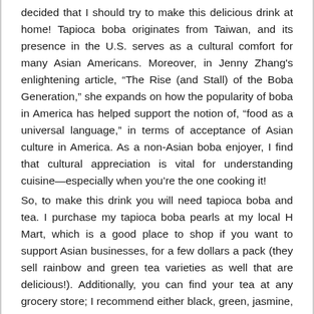decided that I should try to make this delicious drink at home! Tapioca boba originates from Taiwan, and its presence in the U.S. serves as a cultural comfort for many Asian Americans. Moreover, in Jenny Zhang's enlightening article, “The Rise (and Stall) of the Boba Generation,” she expands on how the popularity of boba in America has helped support the notion of, “food as a universal language,” in terms of acceptance of Asian culture in America. As a non-Asian boba enjoyer, I find that cultural appreciation is vital for understanding cuisine—especially when you’re the one cooking it!
So, to make this drink you will need tapioca boba and tea. I purchase my tapioca boba pearls at my local H Mart, which is a good place to shop if you want to support Asian businesses, for a few dollars a pack (they sell rainbow and green tea varieties as well that are delicious!). Additionally, you can find your tea at any grocery store; I recommend either black, green, jasmine, or herbal (go for herbal if you can’t have caffeine), and you’ll need to brew this according to the instructions on the box and then let it get to room temperature before serving—as boba drinks are usually served iced.
The instructions for cooking the boba are as follows, though